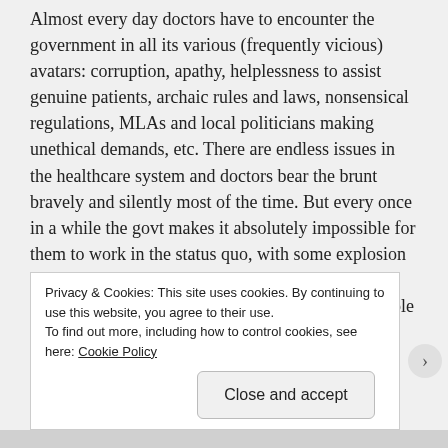Almost every day doctors have to encounter the government in all its various (frequently vicious) avatars: corruption, apathy, helplessness to assist genuine patients, archaic rules and laws, nonsensical regulations, MLAs and local politicians making unethical demands, etc. There are endless issues in the healthcare system and doctors bear the brunt bravely and silently most of the time. But every once in a while the govt makes it absolutely impossible for them to work in the status quo, with some explosion becoming unavoidably necessary to shake lethargic authorities. A strike is only a last resort, and if people are seeing strikes more frequently these days, then they better ruminate on how hopeless the
Privacy & Cookies: This site uses cookies. By continuing to use this website, you agree to their use.
To find out more, including how to control cookies, see here: Cookie Policy
Close and accept